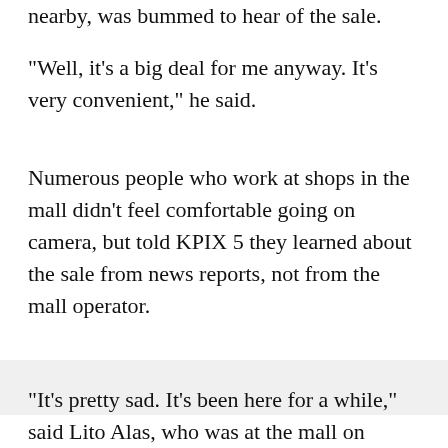nearby, was bummed to hear of the sale.
"Well, it's a big deal for me anyway. It's very convenient," he said.
Numerous people who work at shops in the mall didn't feel comfortable going on camera, but told KPIX 5 they learned about the sale from news reports, not from the mall operator.
"It's pretty sad. It's been here for a while," said Lito Alas, who was at the mall on Friday.
But as this chapter at the Tanforan site closes, a new one is already being written, and it will include what many see as a long and overdue tribute and